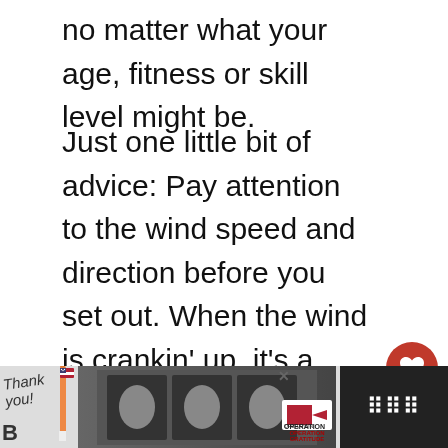no matter what your age, fitness or skill level might be.
Just one little bit of advice: Pay attention to the wind speed and direction before you set out. When the wind is crankin' up, it's a whole lot easier to make the return trip with the wind at your back!
The paths are open year-round, free of charge, and are easily accessed from many well-marked locations on both sides Canal.
[Figure (infographic): Red circular heart/like button with white heart icon, like count '1', and share button below]
[Figure (infographic): WHAT'S NEXT arrow label with circular thumbnail image and text 'Cape Cod Activities...']
[Figure (photo): Advertisement bar at bottom: Thank you handwritten text with pencil, firefighters group photo, Operation Gratitude logo, close button, weather widget with dots on dark background]